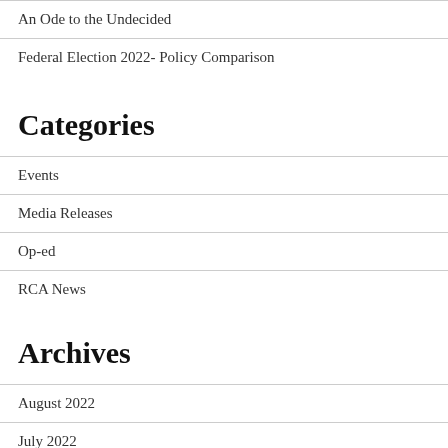An Ode to the Undecided
Federal Election 2022- Policy Comparison
Categories
Events
Media Releases
Op-ed
RCA News
Archives
August 2022
July 2022